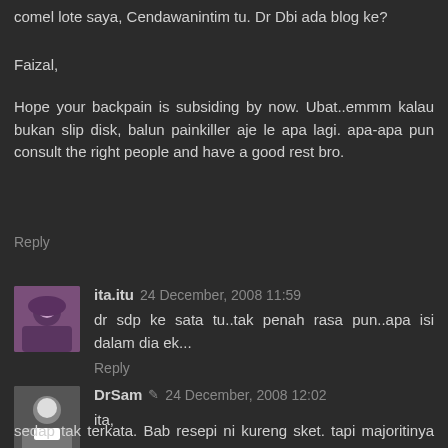comel lote saya, Cendawanintim tu. Dr Dbi ada blog ke?
Faizal,
Hope your backpain is subsiding by now. Ubat..emmm kalau bukan slip disk, balun painkiller aje le apa lagi. apa-apa pun consult the right people and have a good rest bro.
Reply
ita.itu  24 December, 2008 11:59
dr sdp ke sata tu..tak penah rasa pun..apa isi dalam dia ek...
Reply
DrSam  24 December, 2008 12:02
ita,
sedap tak terkata. Bab resepi ni kureng sket. tapi majoritinya ikan la gamaknye. nak detail kena tanya...